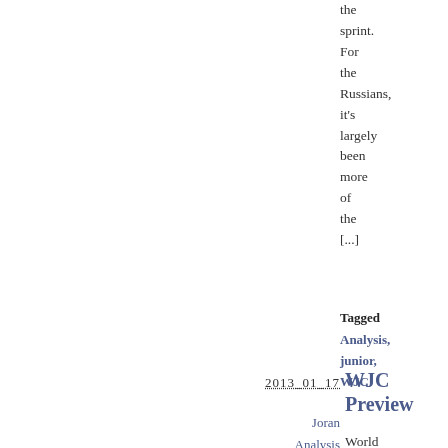the sprint. For the Russians, it's largely been more of the [...]
Tagged
Analysis, junior, WJC
2013 01 17
WJC Preview
Joran
Analysis
Cross Country
World Junior Championships